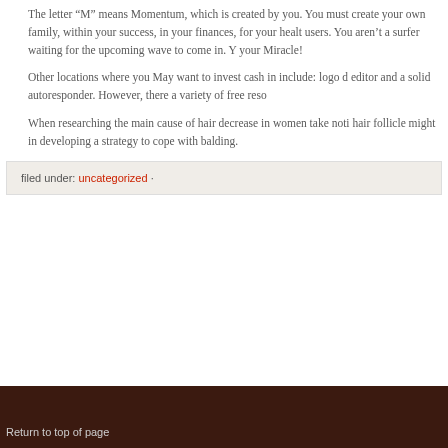The letter “M” means Momentum, which is created by you. You must create your own family, within your success, in your finances, for your health users. You aren’t a surfer waiting for the upcoming wave to come in. You must create your Miracle!
Other locations where you May want to invest cash in include: logo design, editor and a solid autoresponder. However, there a variety of free resources
When researching the main cause of hair decrease in women take notice the hair follicle might in developing a strategy to cope with balding.
filed under: uncategorized ·
Return to top of page